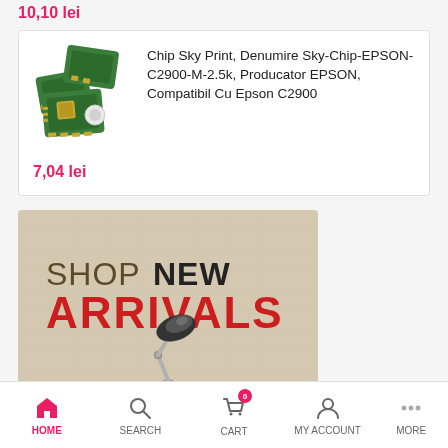10,10 lei
[Figure (photo): Photo of printer chip components (small green circuit chips and a white circular chip) for Epson printer]
Chip Sky Print, Denumire Sky-Chip-EPSON-C2900-M-2.5k, Producator EPSON, Compatibil Cu Epson C2900
7,04 lei
[Figure (illustration): Shop New Arrivals banner with text SHOP NEW ARRIVALS in large letters, a desk lamp, and colorful objects on a beige textured background]
HOME   SEARCH   CART   MY ACCOUNT   MORE